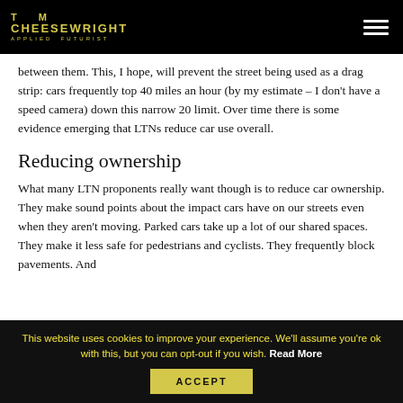TOM CHEESEWRIGHT APPLIED FUTURIST
between them. This, I hope, will prevent the street being used as a drag strip: cars frequently top 40 miles an hour (by my estimate – I don't have a speed camera) down this narrow 20 limit. Over time there is some evidence emerging that LTNs reduce car use overall.
Reducing ownership
What many LTN proponents really want though is to reduce car ownership. They make sound points about the impact cars have on our streets even when they aren't moving. Parked cars take up a lot of our shared spaces. They make it less safe for pedestrians and cyclists. They frequently block pavements. And
This website uses cookies to improve your experience. We'll assume you're ok with this, but you can opt-out if you wish. Read More
ACCEPT